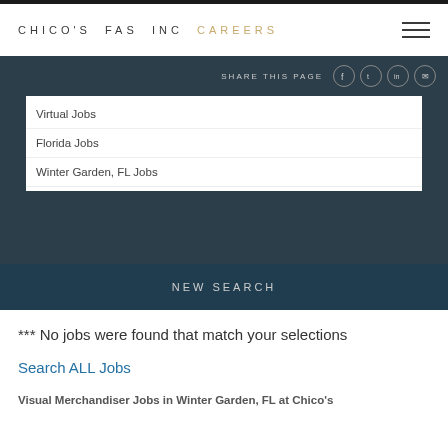CHICO'S FAS INC CAREERS
SHARE THIS PAGE
Virtual Jobs
Florida Jobs
Winter Garden, FL Jobs
Zip Code  25 Miles  GO
NEW SEARCH
*** No jobs were found that match your selections
Search ALL Jobs
Visual Merchandiser Jobs in Winter Garden, FL at Chico's